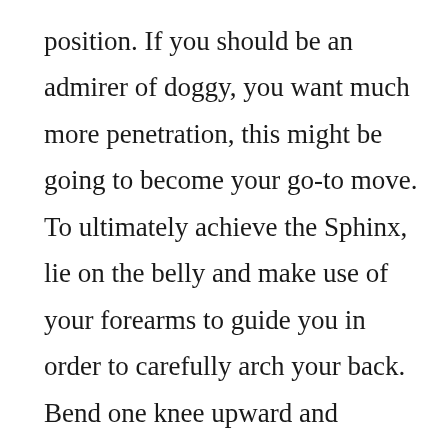position. If you should be an admirer of doggy, you want much more penetration, this might be going to become your go-to move. To ultimately achieve the Sphinx, lie on the belly and make use of your forearms to guide you in order to carefully arch your back. Bend one knee upward and available to the part, while making one other outstretched behind you. Your spouse are able to slip up between your legs and behind penetrate you from. Legendary material.